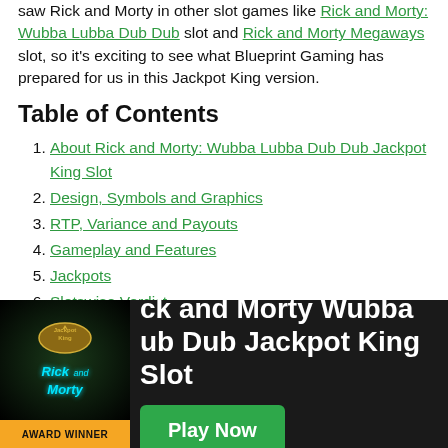saw Rick and Morty in other slot games like Rick and Morty: Wubba Lubba Dub Dub slot and Rick and Morty Megaways slot, so it's exciting to see what Blueprint Gaming has prepared for us in this Jackpot King version.
Table of Contents
1. About Rick and Morty: Wubba Lubba Dub Dub Jackpot King Slot
2. Design, Symbols and Graphics
3. RTP, Variance and Payouts
4. Gameplay and Features
5. Jackpots
6. Slotswise Verdict
Rick and Morty Wubba Lub Dub Jackpot King Slot
[Figure (photo): Rick and Morty game card showing Jackpot King logo at top, Rick and Morty glowing teal text logo in center, and AWARD WINNER banner at the bottom on gold/orange background]
Play Now button